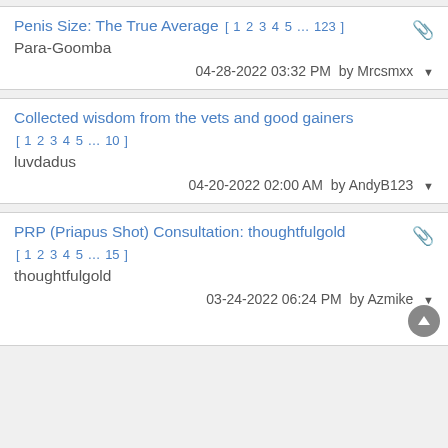Penis Size: The True Average [ 1 2 3 4 5 ... 123 ] Para-Goomba 04-28-2022 03:32 PM by Mrcsmxx
Collected wisdom from the vets and good gainers [ 1 2 3 4 5 ... 10 ] luvdadus 04-20-2022 02:00 AM by AndyB123
PRP (Priapus Shot) Consultation: thoughtfulgold [ 1 2 3 4 5 ... 15 ] thoughtfulgold 03-24-2022 06:24 PM by Azmike